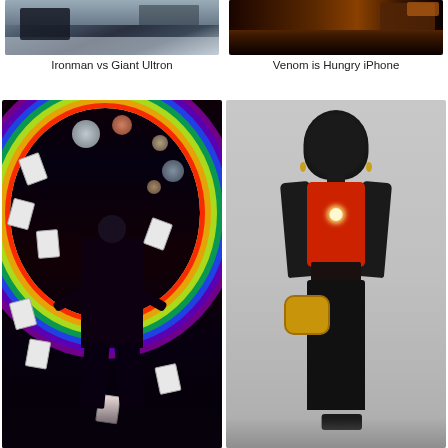[Figure (photo): Ironman vs Giant Ultron - dark snowy cinematic scene]
Ironman vs Giant Ultron
[Figure (photo): Venom is Hungry iPhone - dark orange background with Venom imagery]
Venom is Hungry iPhone
[Figure (photo): Joker character with arms raised, rainbow ring arc around him, floating playing cards and planets, black and white dark staircase background]
[Figure (photo): Black woman in Iron Man red crop top holding Iron Man gold helmet, wearing black leggings, standing against neutral background]